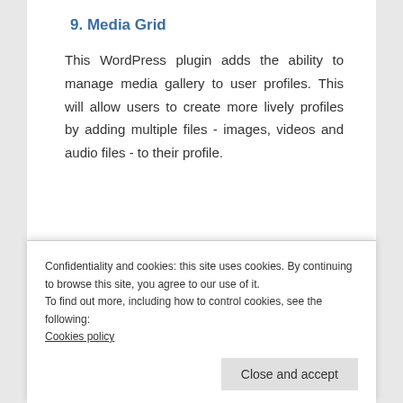9. Media Grid
This WordPress plugin adds the ability to manage media gallery to user profiles. This will allow users to create more lively profiles by adding multiple files - images, videos and audio files - to their profile.
[Figure (screenshot): Overlay Manager v1.54 plugin banner — dark background with green grid icon and green right corner, subtitle: Media Grid add-on]
Confidentiality and cookies: this site uses cookies. By continuing to browse this site, you agree to our use of it.
To find out more, including how to control cookies, see the following:
Cookies policy
Close and accept
Its features include: Open images in